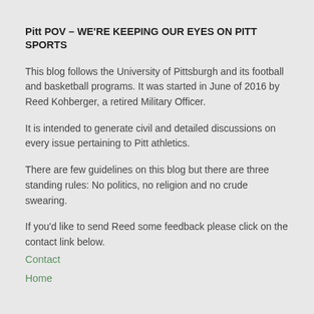Pitt POV – WE'RE KEEPING OUR EYES ON PITT SPORTS
This blog follows the University of Pittsburgh and its football and basketball programs. It was started in June of 2016 by Reed Kohberger, a retired Military Officer.
It is intended to generate civil and detailed discussions on every issue pertaining to Pitt athletics.
There are few guidelines on this blog but there are three standing rules: No politics, no religion and no crude swearing.
If you'd like to send Reed some feedback please click on the contact link below.
Contact
Home